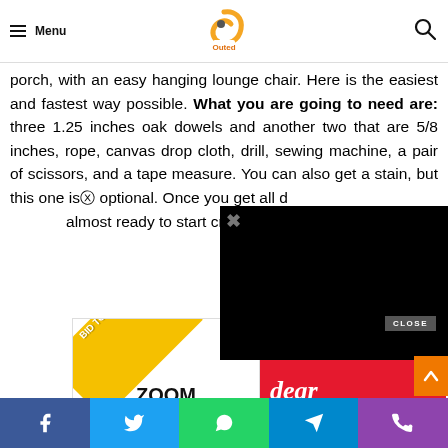Menu | Outed [logo]
porch, with an easy hanging lounge chair. Here is the easiest and fastest way possible. What you are going to need are: three 1.25 inches oak dowels and another two that are 5/8 inches, rope, canvas drop cloth, drill, sewing machine, a pair of scissors, and a tape measure. You can also get a stain, but this one is optional. Once you get all d... almost ready to start creating...
[Figure (screenshot): Video overlay (black rectangle) partially obscuring the article text, with close button (X)]
[Figure (infographic): Advertisement banner: yellow diagonal 'BID TO WIN!' ribbon on left, 'ZOOM' text below; red banner on right with 'dear' text and decorative elements]
[Figure (screenshot): CLOSE button label on video overlay]
Social share bar: Facebook, Twitter, WhatsApp, Telegram, Phone